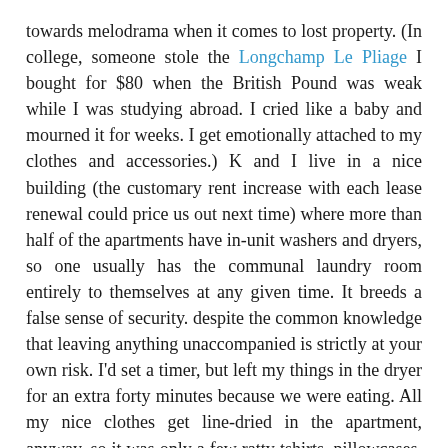towards melodrama when it comes to lost property. (In college, someone stole the Longchamp Le Pliage I bought for $80 when the British Pound was weak while I was studying abroad. I cried like a baby and mourned it for weeks. I get emotionally attached to my clothes and accessories.) K and I live in a nice building (the customary rent increase with each lease renewal could price us out next time) where more than half of the apartments have in-unit washers and dryers, so one usually has the communal laundry room entirely to themselves at any given time. It breeds a false sense of security. despite the common knowledge that leaving anything unaccompanied is strictly at your own risk. I'd set a timer, but left my things in the dryer for an extra forty minutes because we were eating. All my nice clothes get line-dried in the apartment, anyway, so it was only a few ratty tshirts, pillowcases, etc. that were in there.

Horror of horrors, someone took about a quarter of my items from the dryer before I got there. All of the underwear that was in there, a few tees, both of the black H&M camisoles that are essential to my slouchy sweater-wearing at work, and a couple of more that the offsets to send back to